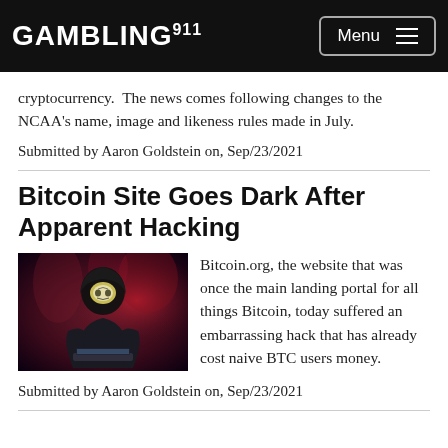GAMBLING911 Menu
cryptocurrency.  The news comes following changes to the NCAA's name, image and likeness rules made in July.
Submitted by Aaron Goldstein on, Sep/23/2021
Bitcoin Site Goes Dark After Apparent Hacking
[Figure (photo): A hooded figure wearing a glowing mask sitting at a laptop in a dark red smoky environment, representing a hacker]
Bitcoin.org, the website that was once the main landing portal for all things Bitcoin, today suffered an embarrassing hack that has already cost naive BTC users money.
Submitted by Aaron Goldstein on, Sep/23/2021